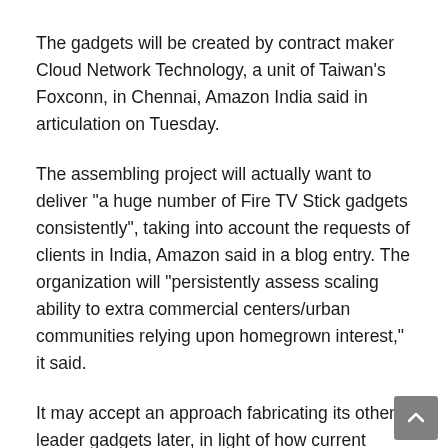The gadgets will be created by contract maker Cloud Network Technology, a unit of Taiwan's Foxconn, in Chennai, Amazon India said in articulation on Tuesday.
The assembling project will actually want to deliver "a huge number of Fire TV Stick gadgets consistently", taking into account the requests of clients in India, Amazon said in a blog entry. The organization will "persistently assess scaling ability to extra commercial centers/urban communities relying upon homegrown interest," it said.
It may accept an approach fabricating its other leader gadgets later, in light of how current creative endeavors continue," said an individual mindful of the matter, looking for namelessness. Amazon is important for a developing rundown of multinationals hoping to open assembling places in India. US electric vehicle producer Tesla Inc. is near marking an agreement to begin collecting its electric vehicles